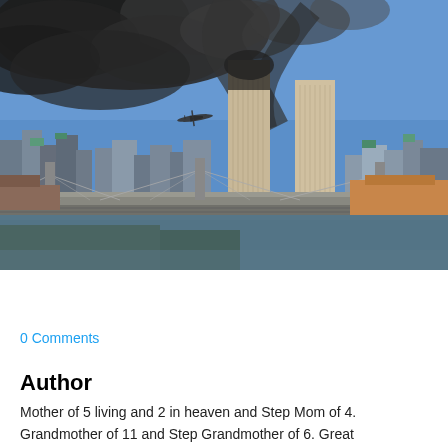[Figure (photo): Iconic photograph of the September 11, 2001 attacks on the World Trade Center in New York City. The image shows the Twin Towers with smoke billowing from them, an airplane visible in the sky approaching the second tower, the Manhattan Bridge in the foreground, and the New York City skyline.]
Tweet
0 Comments
Author
Mother of 5 living and 2 in heaven and Step Mom of 4. Grandmother of 11 and Step Grandmother of 6.  Great Grandmother 5